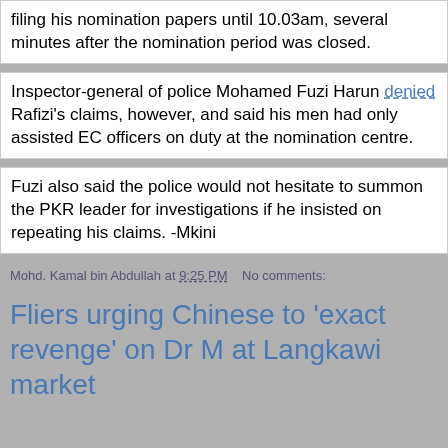filing his nomination papers until 10.03am, several minutes after the nomination period was closed.
Inspector-general of police Mohamed Fuzi Harun denied Rafizi's claims, however, and said his men had only assisted EC officers on duty at the nomination centre.
Fuzi also said the police would not hesitate to summon the PKR leader for investigations if he insisted on repeating his claims. -Mkini
Mohd. Kamal bin Abdullah at 9:25 PM    No comments:
Fliers urging Chinese to 'exact revenge' on Dr M at Langkawi market